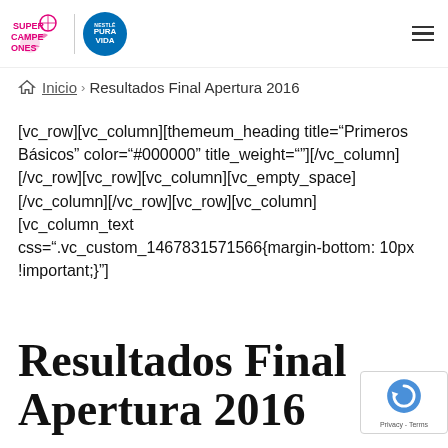Super Campeones | Nestlé Pura Vida
Inicio › Resultados Final Apertura 2016
[vc_row][vc_column][themeum_heading title="Primeros Básicos" color="#000000" title_weight=""][/vc_column][/vc_row][vc_row][vc_column][vc_empty_space][/vc_column][/vc_row][vc_row][vc_column][vc_column_text css=".vc_custom_1467831571566{margin-bottom: 10px !important;}"]
Resultados Final Apertura 2016